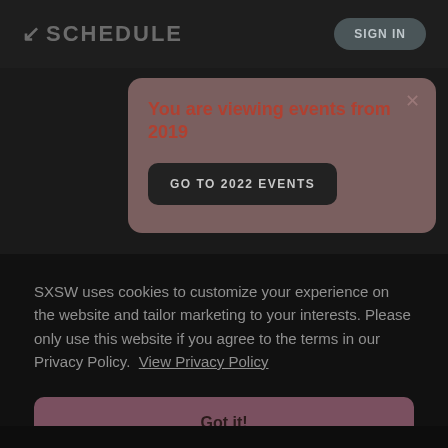↙ SCHEDULE   SIGN IN
You are viewing events from 2019
GO TO 2022 EVENTS
SXSW uses cookies to customize your experience on the website and tailor marketing to your interests. Please only use this website if you agree to the terms in our Privacy Policy.  View Privacy Policy
Got it!